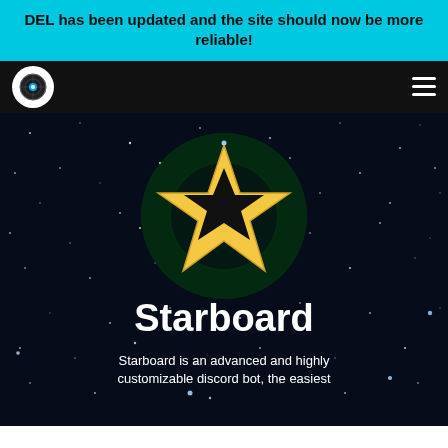DEL has been updated and the site should now be more reliable!
[Figure (logo): Circular eye/radar logo in white on black navbar background]
[Figure (illustration): Star-shaped icon with golden yellow outline and black fill, centered on a dark starfield background with a green glow circle behind it]
Starboard
Starboard is an advanced and highly customizable discord bot, the easiest